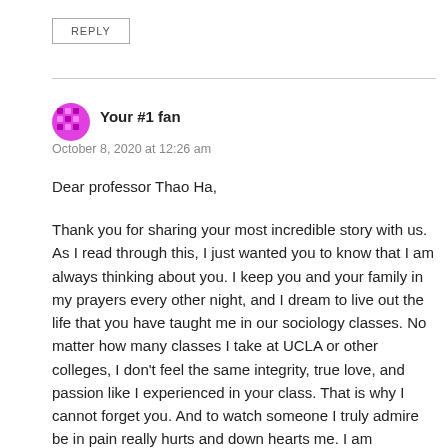REPLY
Your #1 fan
October 8, 2020 at 12:26 am
Dear professor Thao Ha,
Thank you for sharing your most incredible story with us. As I read through this, I just wanted you to know that I am always thinking about you. I keep you and your family in my prayers every other night, and I dream to live out the life that you have taught me in our sociology classes. No matter how many classes I take at UCLA or other colleges, I don't feel the same integrity, true love, and passion like I experienced in your class. That is why I cannot forget you. And to watch someone I truly admire be in pain really hurts and down hearts me. I am